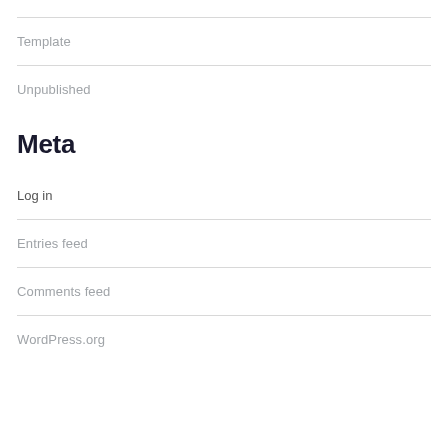Template
Unpublished
Meta
Log in
Entries feed
Comments feed
WordPress.org